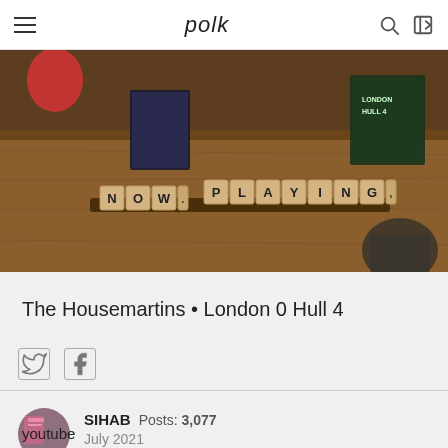polk
[Figure (photo): Photo of scrabble tiles spelling NOW PLAYING on a wooden surface, with a CD case visible in the background on a table]
The Housemartins • London 0 Hull 4
SIHAB  Posts: 3,077  July 2021
youtube